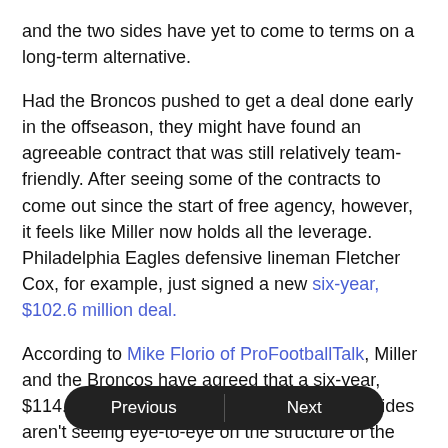and the two sides have yet to come to terms on a long-term alternative.
Had the Broncos pushed to get a deal done early in the offseason, they might have found an agreeable contract that was still relatively team-friendly. After seeing some of the contracts to come out since the start of free agency, however, it feels like Miller now holds all the leverage. Philadelphia Eagles defensive lineman Fletcher Cox, for example, just signed a new six-year, $102.6 million deal.
According to Mike Florio of ProFootballTalk, Miller and the Broncos have agreed that a six-year, $114.5 million deal is fair. However, the two sides aren't seeing eye-to-eye on the structure of the deal. If the Broncos can't finalize a deal by July 15, they might not have Miller at all this season.